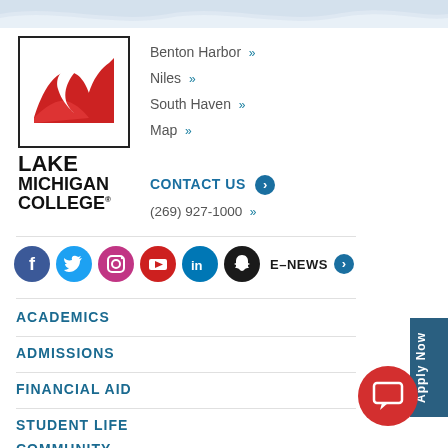[Figure (logo): Lake Michigan College logo — red wave in white box, text LAKE MICHIGAN COLLEGE below]
Benton Harbor »
Niles »
South Haven »
Map »
CONTACT US ⊙
(269) 927-1000 »
[Figure (infographic): Social media icons row: Facebook, Twitter, Instagram, YouTube, LinkedIn, Snapchat; followed by E-NEWS link]
ACADEMICS
ADMISSIONS
FINANCIAL AID
STUDENT LIFE
COMMUNITY
[Figure (other): Apply Now vertical sidebar button]
[Figure (other): Red circular chat button]